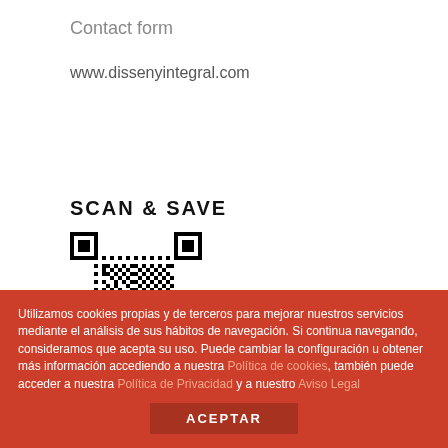Contact form
www.dissenyintegral.com
SCAN & SAVE
[Figure (other): QR code linking to www.dissenyintegral.com]
Utilizamos cookies propias y de terceros para mejorar nuestros servicios mediante el análisis de sus hábitos de navegación. Si continua navegando, consideramos que acepta su uso. Puede cambiar la configuración u obtener más información accediendo a nuestra Política de cookies, también puede acceder a nuestra Política de Privacidad y a nuestro Aviso Legal
ACEPTAR